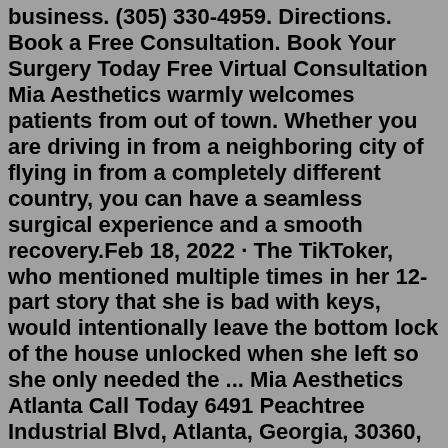business. (305) 330-4959. Directions. Book a Free Consultation. Book Your Surgery Today Free Virtual Consultation Mia Aesthetics warmly welcomes patients from out of town. Whether you are driving in from a neighboring city of flying in from a completely different country, you can have a seamless surgical experience and a smooth recovery.Feb 18, 2022 · The TikToker, who mentioned multiple times in her 12-part story that she is bad with keys, would intentionally leave the bottom lock of the house unlocked when she left so she only needed the ... Mia Aesthetics Atlanta Call Today 6491 Peachtree Industrial Blvd, Atlanta, Georgia, 30360, United States 1 770-689-1858. Directions. Mia Aesthetics Atlanta Call Today. Details Reviews ... Businesses near Mia Aesthetics Atlanta.A clickable map of hotels and motels near mia aesthetics atlanta in atlanta, georgia ga. Mia aesthetics in miami, florida. Introducing mia aesthetics' newest doctor: Book a consultation, get contact. Uncover why mia aesthetics is the best company for you. 6491 peachtree industrial